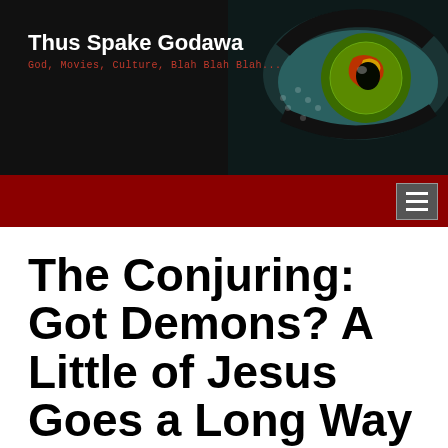Thus Spake Godawa
God, Movies, Culture, Blah Blah Blah...
The Conjuring: Got Demons? A Little of Jesus Goes a Long Way
Posted on July 19, 2013
Demon horror. Supposedly true story based on an incident in the 1970s about the most horrifying experience of two